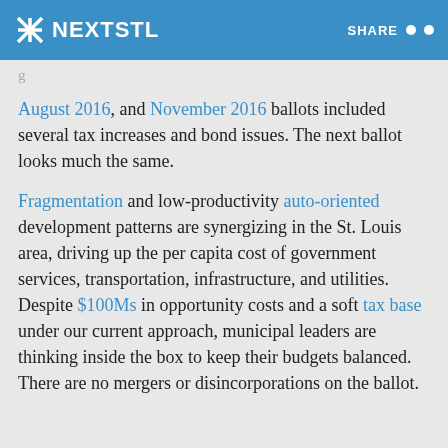NEXTSTL | SHARE
August 2016, and November 2016 ballots included several tax increases and bond issues. The next ballot looks much the same.
Fragmentation and low-productivity auto-oriented development patterns are synergizing in the St. Louis area, driving up the per capita cost of government services, transportation, infrastructure, and utilities. Despite $100Ms in opportunity costs and a soft tax base under our current approach, municipal leaders are thinking inside the box to keep their budgets balanced. There are no mergers or disincorporations on the ballot.